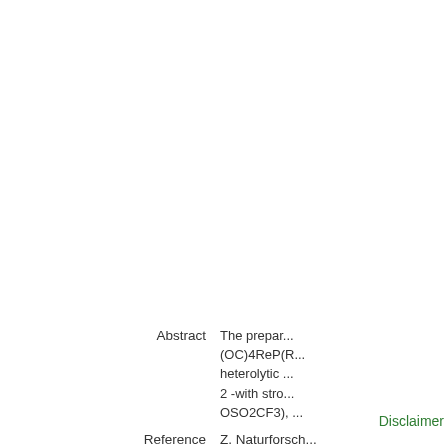Heteroc... Properties Heteroc... Bond in Electrop... Bonds
Abstract: The preparation (OC)4ReP(R... heterolytic ... 2 -with strong... OSO2CF3), ... on the phos...
Reference: Z. Naturforsch...
Published: 1980
Keywords: Rhenacyclo...
Similar Items: Find
Disclaimer